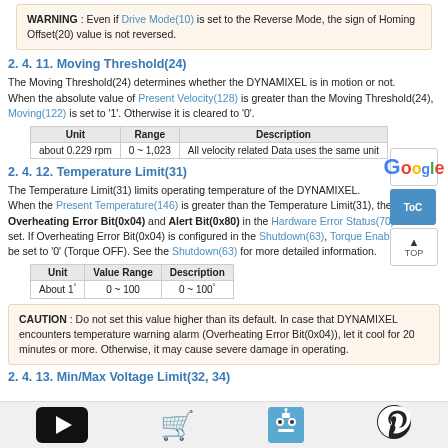WARNING: Even if Drive Mode(10) is set to the Reverse Mode, the sign of Homing Offset(20) value is not reversed.
2. 4. 11. Moving Threshold(24)
The Moving Threshold(24) determines whether the DYNAMIXEL is in motion or not. When the absolute value of Present Velocity(128) is greater than the Moving Threshold(24), Moving(122) is set to '1'. Otherwise it is cleared to '0'.
| Unit | Range | Description |
| --- | --- | --- |
| about 0.229 rpm | 0 ~ 1,023 | All velocity related Data uses the same unit |
2. 4. 12. Temperature Limit(31)
The Temperature Limit(31) limits operating temperature of the DYNAMIXEL. When the Present Temperature(146) is greater than the Temperature Limit(31), the Overheating Error Bit(0x04) and Alert Bit(0x80) in the Hardware Error Status(70) will be set. If Overheating Error Bit(0x04) is configured in the Shutdown(63), Torque Enable(64) will be set to '0' (Torque OFF). See the Shutdown(63) for more detailed information.
| Unit | Value Range | Description |
| --- | --- | --- |
| About 1° | 0 ~ 100 | 0 ~ 100° |
CAUTION: Do not set this value higher than its default. In case that DYNAMIXEL encounters temperature warning alarm (Overheating Error Bit(0x04)), let it cool for 20 minutes or more. Otherwise, it may cause severe damage in operating.
2. 4. 13. Min/Max Voltage Limit(32, 34)